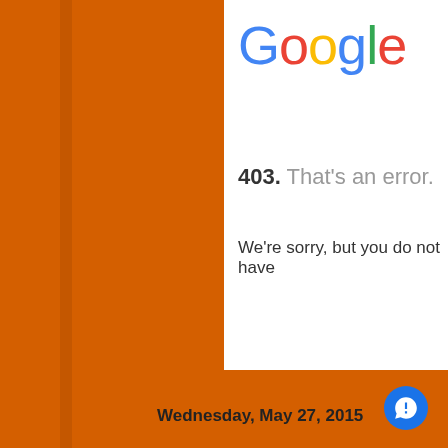[Figure (screenshot): Google 403 error page screenshot showing Google logo and error message on white panel, overlaid on orange background]
Google
403. That's an error.
We're sorry, but you do not have
Wednesday, May 27, 2015